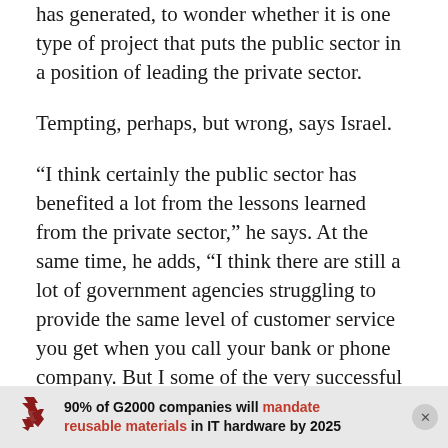has generated, to wonder whether it is one type of project that puts the public sector in a position of leading the private sector.
Tempting, perhaps, but wrong, says Israel.
“I think certainly the public sector has benefited a lot from the lessons learned from the private sector,” he says. At the same time, he adds, “I think there are still a lot of government agencies struggling to provide the same level of customer service you get when you call your bank or phone company. But I some of the very successful projects we have worked on, like New York, are very highly thought of in the city of New York
[Figure (other): Advertisement banner: recycling icon on left, text reading '90% of G2000 companies will mandate reusable materials in IT hardware by 2025', with a close (x) button on the right.]